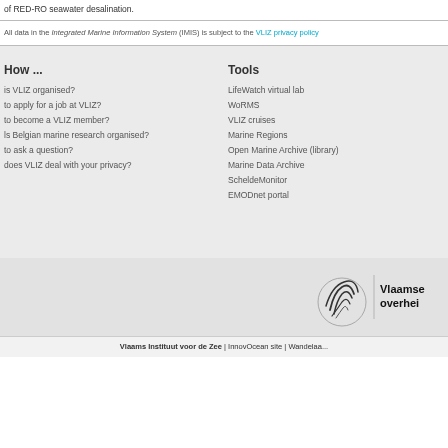of RED-RO seawater desalination.
All data in the Integrated Marine Information System (IMIS) is subject to the VLIZ privacy policy
How ...
is VLIZ organised?
to apply for a job at VLIZ?
to become a VLIZ member?
ls Belgian marine research organised?
to ask a question?
does VLIZ deal with your privacy?
Tools
LifeWatch virtual lab
WoRMS
VLIZ cruises
Marine Regions
Open Marine Archive (library)
Marine Data Archive
ScheldeMonitor
EMODnet portal
[Figure (logo): Vlaamse overheid logo with stylized wave icon]
Vlaams Instituut voor de Zee | InnovOcean site | Wandelaa...